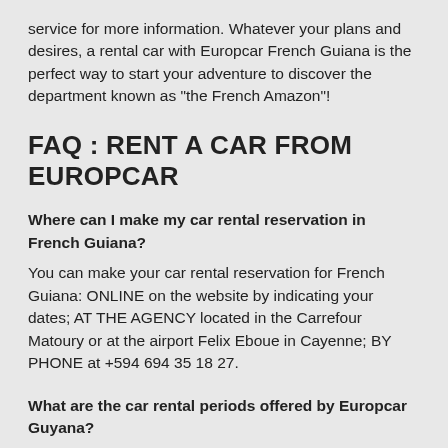service for more information. Whatever your plans and desires, a rental car with Europcar French Guiana is the perfect way to start your adventure to discover the department known as "the French Amazon"!
FAQ : RENT A CAR FROM EUROPCAR
Where can I make my car rental reservation in French Guiana?
You can make your car rental reservation for French Guiana: ONLINE on the website by indicating your dates; AT THE AGENCY located in the Carrefour Matoury or at the airport Felix Eboue in Cayenne; BY PHONE at +594 694 35 18 27.
What are the car rental periods offered by Europcar Guyana?